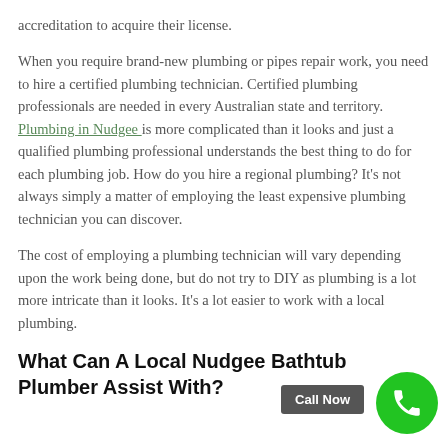accreditation to acquire their license.
When you require brand-new plumbing or pipes repair work, you need to hire a certified plumbing technician. Certified plumbing professionals are needed in every Australian state and territory. Plumbing in Nudgee is more complicated than it looks and just a qualified plumbing professional understands the best thing to do for each plumbing job. How do you hire a regional plumbing? It’s not always simply a matter of employing the least expensive plumbing technician you can discover.
The cost of employing a plumbing technician will vary depending upon the work being done, but do not try to DIY as plumbing is a lot more intricate than it looks. It’s a lot easier to work with a local plumbing.
What Can A Local Nudgee Bathtub Plumber Assist With?